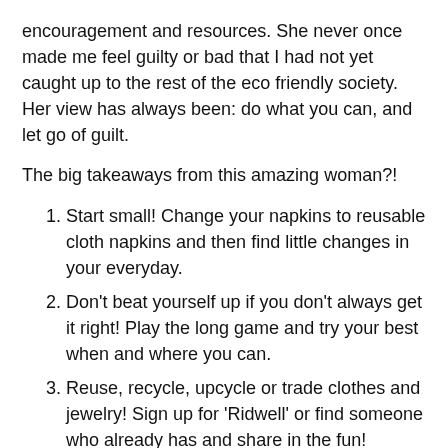encouragement and resources. She never once made me feel guilty or bad that I had not yet caught up to the rest of the eco friendly society. Her view has always been: do what you can, and let go of guilt.
The big takeaways from this amazing woman?!
Start small! Change your napkins to reusable cloth napkins and then find little changes in your everyday.
Don't beat yourself up if you don't always get it right! Play the long game and try your best when and where you can.
Reuse, recycle, upcycle or trade clothes and jewelry! Sign up for 'Ridwell' or find someone who already has and share in the fun!